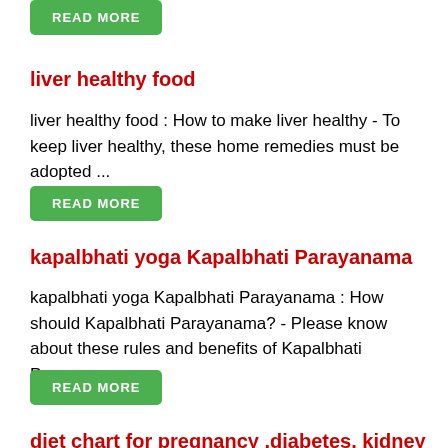[Figure (other): Green READ MORE button at top]
liver healthy food
liver healthy food : How to make liver healthy - To keep liver healthy, these home remedies must be adopted ...
[Figure (other): Green READ MORE button]
kapalbhati yoga Kapalbhati Parayanama
kapalbhati yoga Kapalbhati Parayanama : How should Kapalbhati Parayanama? - Please know about these rules and benefits of Kapalbhati Pranayama ...
[Figure (other): Green READ MORE button]
diet chart for pregnancy ,diabetes, kidney patients
diet chart for pregnancy | diabetes | kidney patients :Diet Chart